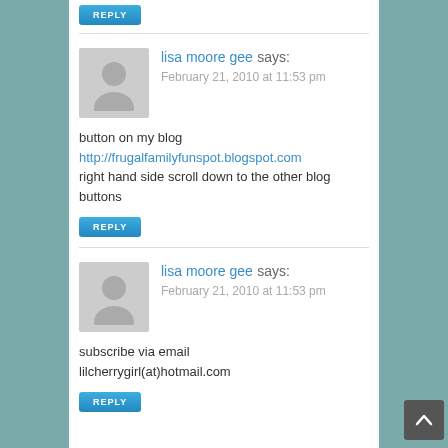REPLY (button at top)
lisa moore gee says:
February 21, 2010 at 11:53 pm
button on my blog
http://frugalfamilyfunspot.blogspot.com
right hand side scroll down to the other blog buttons
REPLY (button)
lisa moore gee says:
February 21, 2010 at 11:53 pm
subscribe via email
lilcherrygirl(at)hotmail.com
REPLY (button at bottom)